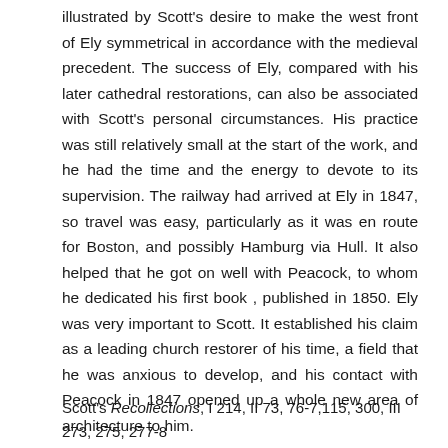illustrated by Scott's desire to make the west front of Ely symmetrical in accordance with the medieval precedent. The success of Ely, compared with his later cathedral restorations, can also be associated with Scott's personal circumstances. His practice was still relatively small at the start of the work, and he had the time and the energy to devote to its supervision. The railway had arrived at Ely in 1847, so travel was easy, particularly as it was en route for Boston, and possibly Hamburg via Hull. It also helped that he got on well with Peacock, to whom he dedicated his first book , published in 1850. Ely was very important to Scott. It established his claim as a leading church restorer of his time, a field that he was anxious to develop, and his contact with Peacock in 1847 opened up a whole new area of architecture to him.
Scott's Recollections, I 214, II 73, 76-7,115, 300, III 273, 275, 277-8